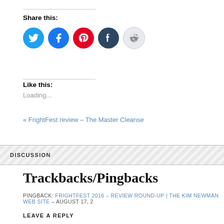Share this:
[Figure (infographic): Five social media icon circles: Twitter (blue), Facebook (blue), Pinterest (red), Tumblr (dark navy), Reddit (light gray)]
Like this:
Loading...
« FrightFest review – The Master Cleanse
DISCUSSION
Trackbacks/Pingbacks
PINGBACK: FRIGHTFEST 2016 – REVIEW ROUND-UP | THE KIM NEWMAN WEB SITE – AUGUST 17, 2
LEAVE A REPLY